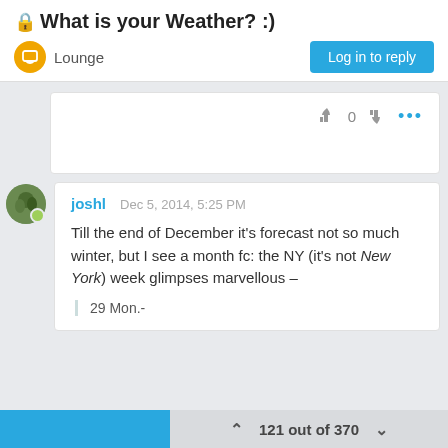🔒What is your Weather? :)
Lounge
Log in to reply
[Figure (screenshot): Vote icons: thumbs up, 0, thumbs down, and three dots menu button]
[Figure (photo): User avatar for joshl with green online indicator dot]
joshl
Dec 5, 2014, 5:25 PM
Till the end of December it's forecast not so much winter, but I see a month fc: the NY (it's not New York) week glimpses marvellous –
29 Mon.-
121 out of 370